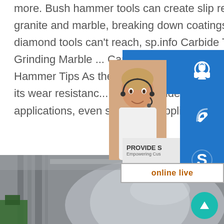more. Bush hammer tools can create slip resistant finishing on granite and marble, breaking down coatings where traditional diamond tools can't reach, sp.info Carbide Tungsten Plate Grinding Marble ... Carbide Tungsten Plate Grinding Marble ... Hammer Tips As the tungsten carbide m... hardness and strength, its wear resistanc... They are widely used in many different in... applications, even some new application ... every day.
[Figure (photo): Industrial machinery with large curved metal components, photographed in a factory or workshop setting with green equipment visible at the lower left.]